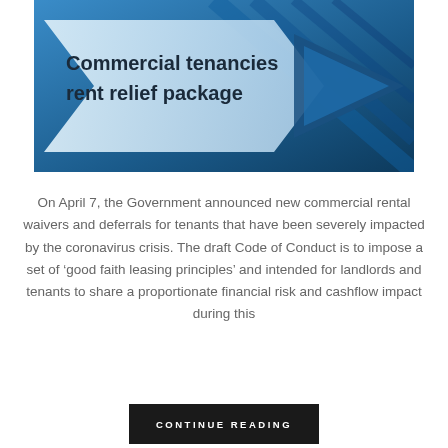[Figure (illustration): Header banner image with blue geometric diagonal background and a light-colored arrow/chevron shape on the left containing the title text 'Commercial tenancies rent relief package' in dark bold font.]
On April 7, the Government announced new commercial rental waivers and deferrals for tenants that have been severely impacted by the coronavirus crisis. The draft Code of Conduct is to impose a set of ‘good faith leasing principles’ and intended for landlords and tenants to share a proportionate financial risk and cashflow impact during this
CONTINUE READING